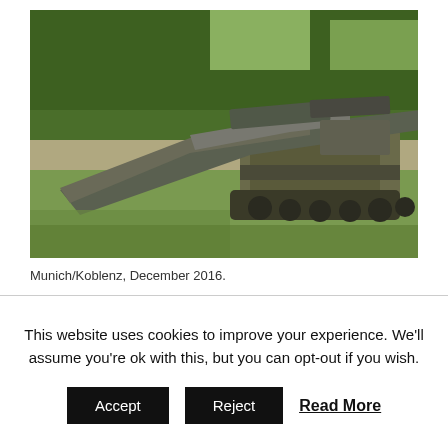[Figure (photo): A military bridge-laying tank (likely Leopard 2-based) with its bridge extended, photographed outdoors near a road with trees and grassland in the background.]
Munich/Koblenz, December 2016.
This website uses cookies to improve your experience. We'll assume you're ok with this, but you can opt-out if you wish.
Accept   Reject   Read More